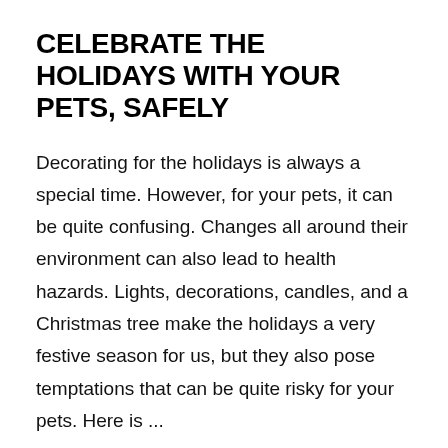CELEBRATE THE HOLIDAYS WITH YOUR PETS, SAFELY
Decorating for the holidays is always a special time. However, for your pets, it can be quite confusing. Changes all around their environment can also lead to health hazards. Lights, decorations, candles, and a Christmas tree make the holidays a very festive season for us, but they also pose temptations that can be quite risky for your pets. Here is ...
Read More